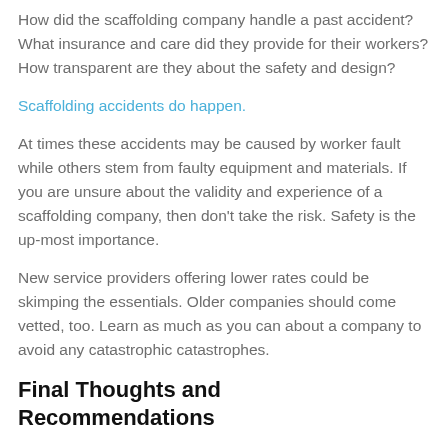How did the scaffolding company handle a past accident? What insurance and care did they provide for their workers? How transparent are they about the safety and design?
Scaffolding accidents do happen.
At times these accidents may be caused by worker fault while others stem from faulty equipment and materials. If you are unsure about the validity and experience of a scaffolding company, then don't take the risk. Safety is the up-most importance.
New service providers offering lower rates could be skimping the essentials. Older companies should come vetted, too. Learn as much as you can about a company to avoid any catastrophic catastrophes.
Final Thoughts and Recommendations